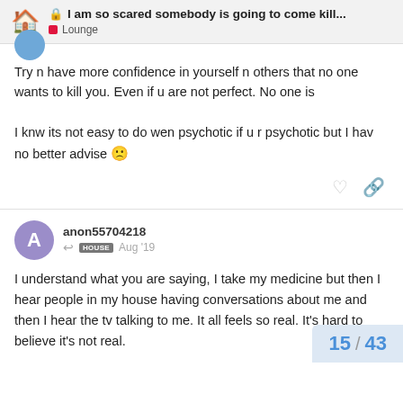I am so scared somebody is going to come kill... | Lounge
Try n have more confidence in yourself n others that no one wants to kill you. Even if u are not perfect. No one is

I knw its not easy to do wen psychotic if u r psychotic but I hav no better advise 🙁
anon55704218 — Aug '19
I understand what you are saying, I take my medicine but then I hear people in my house having conversations about me and then I hear the tv talking to me. It all feels so real. It's hard to believe it's not real.
15 / 43